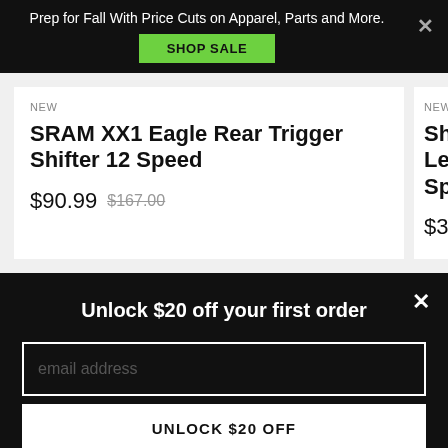Prep for Fall With Price Cuts on Apparel, Parts and More.
SHOP SALE
NEW
SRAM XX1 Eagle Rear Trigger Shifter 12 Speed
$90.99  $167.00
NEW
Shim Left/ Spee
$317.9
Unlock $20 off your first order
email address
UNLOCK $20 OFF
*Valid for one-time use on new accounts